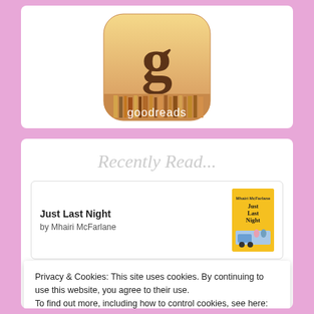[Figure (logo): Goodreads app icon logo — rounded square with orange/tan gradient background, large lowercase 'g' in brown, and 'goodreads' text with book spines graphic below]
Recently Read...
Just Last Night
by Mhairi McFarlane
[Figure (illustration): Book cover for 'Just Last Night' by Mhairi McFarlane — yellow cover with illustrated characters and taxi]
Privacy & Cookies: This site uses cookies. By continuing to use this website, you agree to their use.
To find out more, including how to control cookies, see here: Cookie Policy
Close and accept